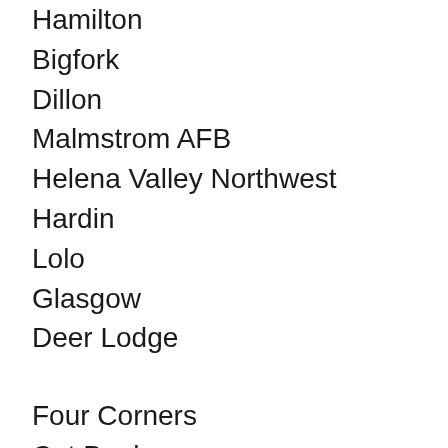Hamilton
Bigfork
Dillon
Malmstrom AFB
Helena Valley Northwest
Hardin
Lolo
Glasgow
Deer Lodge
Four Corners
Cut Bank
Shelby
Montana City
Libby
Wolf Point
Conrad
Helena Valley Northeast
North Ponder…